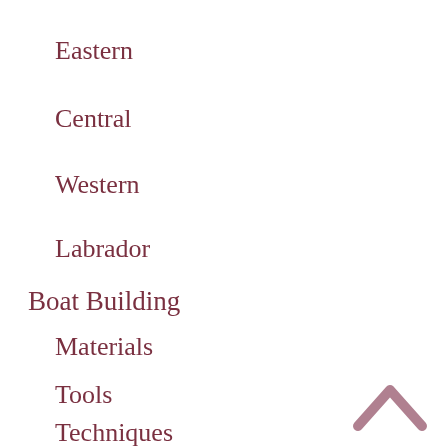Eastern
Central
Western
Labrador
Boat Building
Materials
Tools
Techniques
Boats
Punts & Rodneys
Dories
Motor Boats
Speed Boats
Oth…